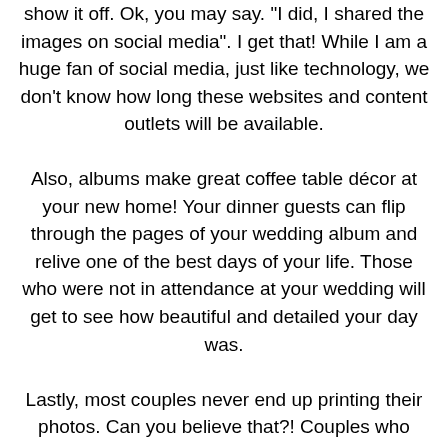show it off. Ok, you may say. "I did, I shared the images on social media". I get that! While I am a huge fan of social media, just like technology, we don't know how long these websites and content outlets will be available. Also, albums make great coffee table décor at your new home! Your dinner guests can flip through the pages of your wedding album and relive one of the best days of your life. Those who were not in attendance at your wedding will get to see how beautiful and detailed your day was. Lastly, most couples never end up printing their photos. Can you believe that?! Couples who don't choose printing through their photographer, almost never print their wedding day photos! Day to day life goes by so quickly and suddenly you realize years have come and gone and you still haven't printed your photos. By choosing a photography package with an album you are